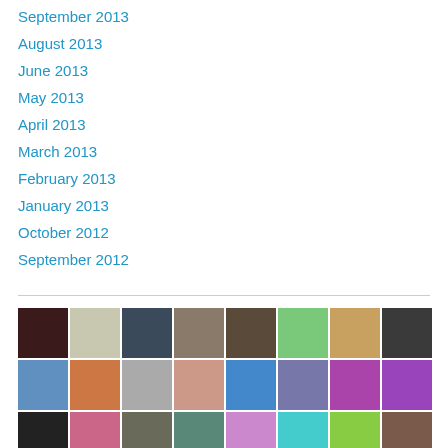September 2013
August 2013
June 2013
May 2013
April 2013
March 2013
February 2013
January 2013
October 2012
September 2012
[Figure (photo): Grid of user avatar/profile photos and decorative pattern tiles arranged in rows]